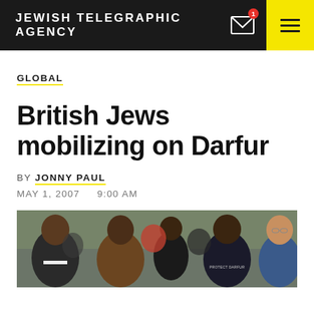JEWISH TELEGRAPHIC AGENCY
GLOBAL
British Jews mobilizing on Darfur
BY JONNY PAUL
MAY 1, 2007   9:00 AM
[Figure (photo): Group of people standing outdoors; one person wearing a shirt that reads PROTECT DARFUR]